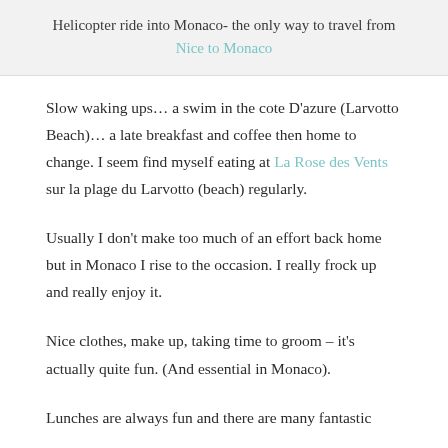Helicopter ride into Monaco- the only way to travel from Nice to Monaco
Slow waking ups… a swim in the cote D'azure (Larvotto Beach)… a late breakfast and coffee then home to change. I seem find myself eating at La Rose des Vents sur la plage du Larvotto (beach) regularly.
Usually I don't make too much of an effort back home but in Monaco I rise to the occasion. I really frock up and really enjoy it.
Nice clothes, make up, taking time to groom – it's actually quite fun. (And essential in Monaco).
Lunches are always fun and there are many fantastic